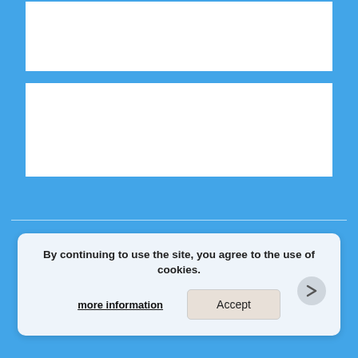[Figure (screenshot): White rectangular content box 1 on blue background]
[Figure (screenshot): White rectangular content box 2 on blue background]
Home   Time Track   World Clock   Time Zones
By continuing to use the site, you agree to the use of cookies.
more information
Accept